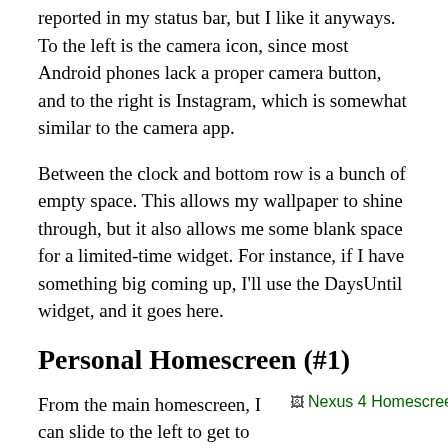reported in my status bar, but I like it anyways. To the left is the camera icon, since most Android phones lack a proper camera button, and to the right is Instagram, which is somewhat similar to the camera app.
Between the clock and bottom row is a bunch of empty space. This allows my wallpaper to shine through, but it also allows me some blank space for a limited-time widget. For instance, if I have something big coming up, I'll use the DaysUntil widget, and it goes here.
Personal Homescreen (#1)
From the main homescreen, I can slide to the left to get to my personal homescreen
[Figure (photo): Nexus 4 Homescreen image (broken/placeholder link shown)]